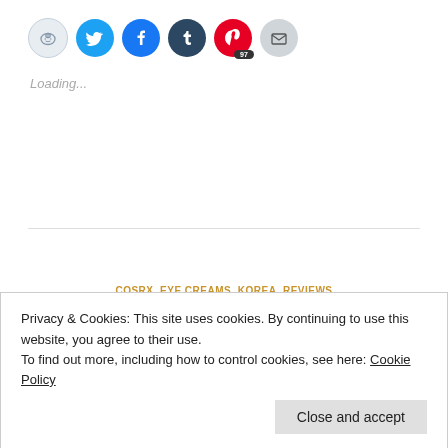[Figure (infographic): Row of social sharing icon circles: Reddit (light blue/gray), Twitter (blue), Facebook (blue), Tumblr (dark navy), Pinterest (red with badge '97'), Email (gray)]
Loading...
COSRX, EYE CREAMS, KOREA, REVIEWS
REVIEW: COSRX HONEY CERAMIDE
Privacy & Cookies: This site uses cookies. By continuing to use this website, you agree to their use.
To find out more, including how to control cookies, see here: Cookie Policy
Close and accept